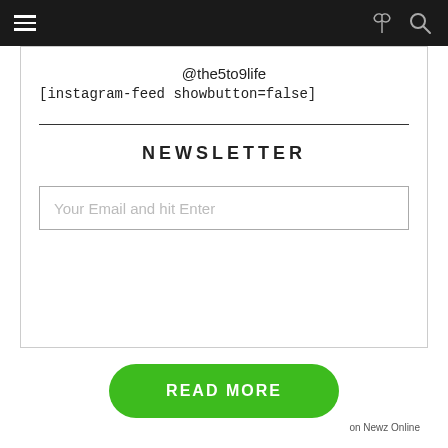Navigation bar with hamburger menu and icons
@the5to9life
[instagram-feed showbutton=false]
NEWSLETTER
Your Email and hit Enter
READ MORE on Newz Online